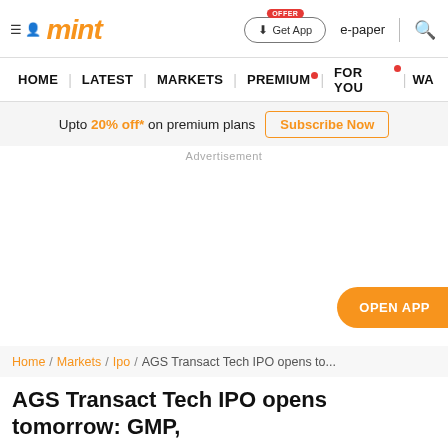mint
HOME | LATEST | MARKETS | PREMIUM | FOR YOU | WA
Upto 20% off* on premium plans Subscribe Now
Advertisement
OPEN APP
Home / Markets / Ipo / AGS Transact Tech IPO opens to...
AGS Transact Tech IPO opens tomorrow: GMP,